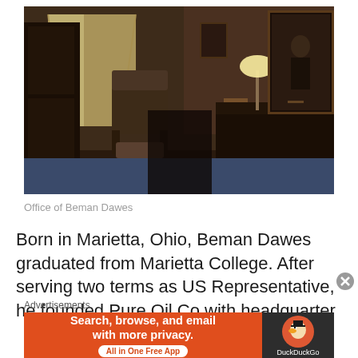[Figure (photo): Interior photo of the Office of Beman Dawes — a dark Victorian-era room with floral wallpaper, a roll-top desk with a lamp, an armchair, a wardrobe, and a large portrait painting on the wall.]
Office of Beman Dawes
Born in Marietta, Ohio, Beman Dawes graduated from Marietta College. After serving two terms as US Representative, he founded Pure Oil Co with headquarter
Advertisements
[Figure (infographic): DuckDuckGo advertisement banner: orange background on left with text 'Search, browse, and email with more privacy. All in One Free App' and dark right panel with DuckDuckGo logo and name.]